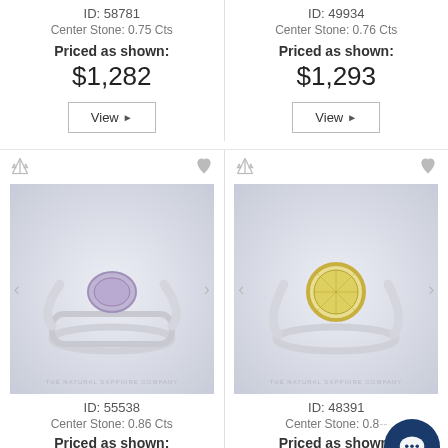ID: 58781
Center Stone: 0.75 Cts
Priced as shown:
$1,282
View
ID: 49934
Center Stone: 0.76 Cts
Priced as shown:
$1,293
View
[Figure (photo): Silver ring with oval purple/lavender sapphire stone, solitaire setting, on white background. Watermark: THE NATURAL SAPPHIRE COMPANY]
ID: 55538
Center Stone: 0.86 Cts
Priced as shown:
[Figure (photo): Silver ring with round yellow sapphire stone in bezel setting, on white background. Watermark: THE NATURAL SAPPHIRE COMPANY]
ID: 48391
Center Stone: 0.8...
Priced as shown: